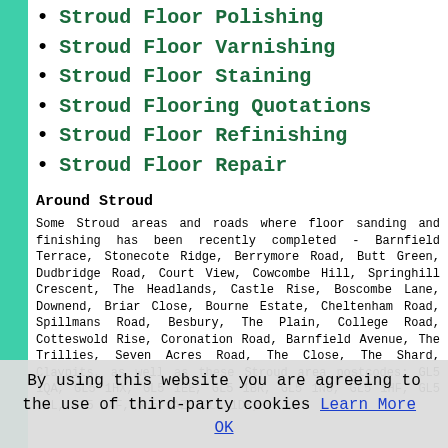Stroud Floor Polishing
Stroud Floor Varnishing
Stroud Floor Staining
Stroud Flooring Quotations
Stroud Floor Refinishing
Stroud Floor Repair
Around Stroud
Some Stroud areas and roads where floor sanding and finishing has been recently completed - Barnfield Terrace, Stonecote Ridge, Berrymore Road, Butt Green, Dudbridge Road, Court View, Cowcombe Hill, Springhill Crescent, The Headlands, Castle Rise, Boscombe Lane, Downend, Briar Close, Bourne Estate, Cheltenham Road, Spillmans Road, Besbury, The Plain, College Road, Cotteswold Rise, Coronation Road, Barnfield Avenue, The Trillies, Seven Acres Road, The Close, The Shard, Claypits, as well as these Stroud area postcodes: GL5 1QA, GL5 1HX, GL5 1EE, GL5 1BR, GL5 1NU, GL5 1HF, GL5 1AL, GL5 1AF, GL5 1AZ, GL5 1DB,
By using this website you are agreeing to the use of third-party cookies Learn More OK